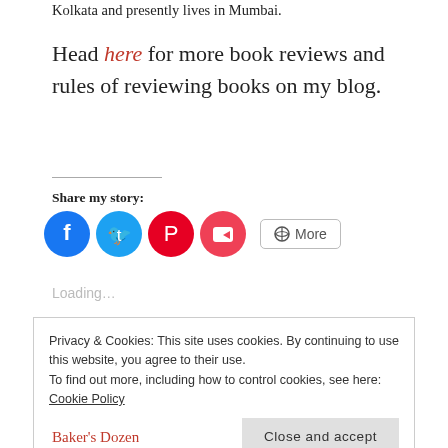Kolkata and presently lives in Mumbai.
Head here for more book reviews and rules of reviewing books on my blog.
Share my story:
[Figure (other): Social share buttons: Facebook (blue circle), Twitter (blue circle), Pinterest (red circle), Pocket (pink-red circle), More button]
Loading...
Privacy & Cookies: This site uses cookies. By continuing to use this website, you agree to their use.
To find out more, including how to control cookies, see here: Cookie Policy
Close and accept
Baker's Dozen